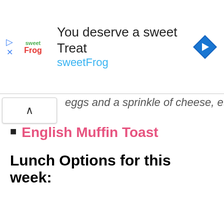[Figure (screenshot): SweetFrog advertisement banner with logo, text 'You deserve a sweet Treat', 'sweetFrog', and a navigation icon]
eggs and a sprinkle of cheese, etc
English Muffin Toast
Lunch Options for this week: